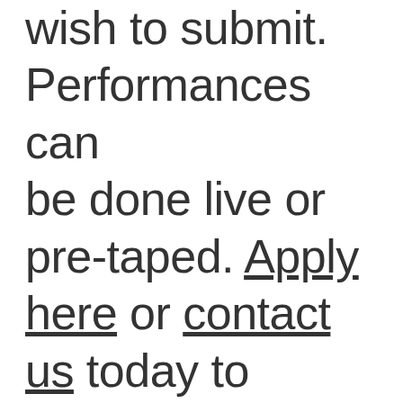wish to submit. Performances can be done live or pre-taped. Apply here or contact us today to discuss details.